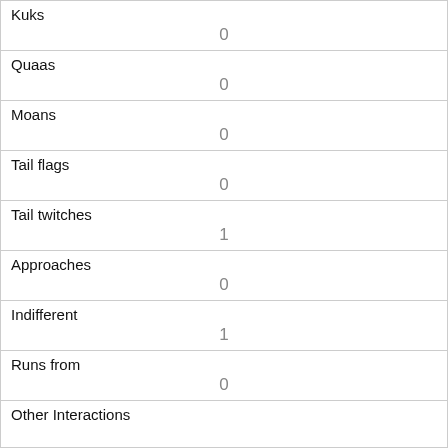| Kuks | 0 |
| Quaas | 0 |
| Moans | 0 |
| Tail flags | 0 |
| Tail twitches | 1 |
| Approaches | 0 |
| Indifferent | 1 |
| Runs from | 0 |
| Other Interactions |  |
| Lat/Long | POINT (-73.9810032206428 40.7681625634979) |